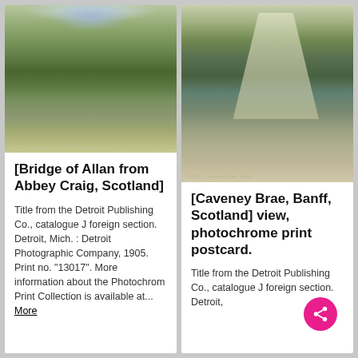[Figure (photo): Photochrome print of Bridge of Allan from Abbey Craig, Scotland — panoramic landscape view with green hills, town in distance, mountains on horizon]
[Bridge of Allan from Abbey Craig, Scotland]
Title from the Detroit Publishing Co., catalogue J foreign section. Detroit, Mich. : Detroit Photographic Company, 1905. Print no. "13017". More information about the Photochrom Print Collection is available at... More
[Figure (photo): Photochrome print of Caveney Brae, Banff, Scotland — tree-lined road receding to bright vanishing point, stone walls on either side]
[Caveney Brae, Banff, Scotland] view, photochrome print postcard.
Title from the Detroit Publishing Co., catalogue J foreign section. Detroit,